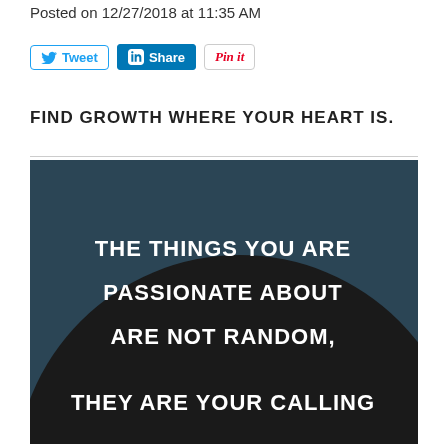Posted on 12/27/2018 at 11:35 AM
[Figure (screenshot): Social sharing buttons: Tweet (Twitter), Share (LinkedIn), Pin it (Pinterest)]
FIND GROWTH WHERE YOUR HEART IS.
[Figure (photo): Dark blue background with a large black circle containing white text: 'THE THINGS YOU ARE PASSIONATE ABOUT ARE NOT RANDOM, THEY ARE YOUR CALLING' (partially visible)]